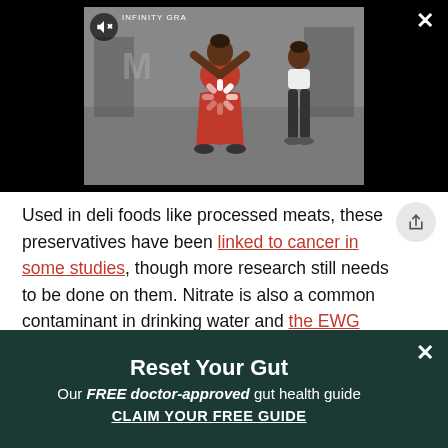[Figure (screenshot): Video thumbnail showing women working out in a gym. Black background surrounds the video frame. Mute icon visible top-left of video. Close X button top-right of page. Loading spinner overlay in center of video.]
Used in deli foods like processed meats, these preservatives have been linked to cancer in some studies, though more research still needs to be done on them. Nitrate is also a common contaminant in drinking water and the EWG states that "the federal legal limit for nitrate in drinking water fails to address the growing concerns about chronic, low-level exposure to nitrate and potential cancer risk."
Reset Your Gut
Our FREE doctor-approved gut health guide
CLAIM YOUR FREE GUIDE